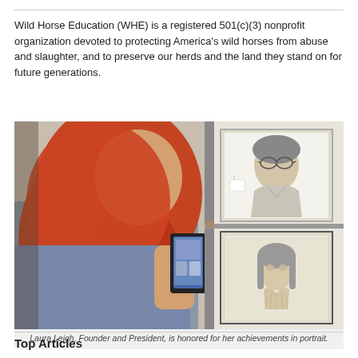Wild Horse Education (WHE) is a registered 501(c)(3) nonprofit organization devoted to protecting America's wild horses from abuse and slaughter, and to preserve our herds and the land they stand on for future generations.
[Figure (photo): A woman with long red hair photographs two framed portrait drawings on a wall display. The upper portrait shows an older person, the lower shows a woman. The person photographing holds a smartphone.]
Laura Leigh, Founder and President, is honored for her achievements in portrait.
Top Articles